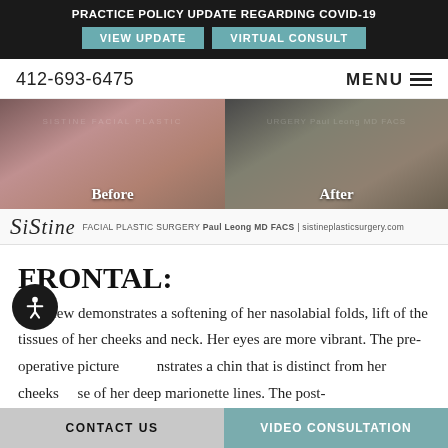PRACTICE POLICY UPDATE REGARDING COVID-19 | VIEW UPDATE | VIRTUAL CONSULT
412-693-6475  MENU
[Figure (photo): Before and after frontal view photos of a facial plastic surgery patient, side by side. Left panel labeled 'Before', right panel labeled 'After'. Watermark text 'Sistine Facial Plastic Surgery' visible on both images.]
Sistine FACIAL PLASTIC SURGERY Paul Leong MD FACS | sistineplasticsurgery.com
FRONTAL:
The view demonstrates a softening of her nasolabial folds, lift of the tissues of her cheeks and neck. Her eyes are more vibrant. The pre-operative picture demonstrates a chin that is distinct from her cheeks because of her deep marionette lines. The post-
CONTACT US  |  VIDEO CONSULTATION